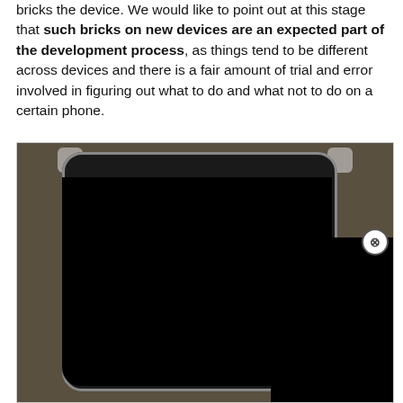bricks the device. We would like to point out at this stage that such bricks on new devices are an expected part of the development process, as things tend to be different across devices and there is a fair amount of trial and error involved in figuring out what to do and what not to do on a certain phone.
[Figure (photo): Photo of a smartphone with a dark/black screen in a clear protective case, placed on a dark surface. A blue LED light is visible at the top of the device near the front camera. Two black redacted rectangles cover portions of the right side of the image. A close/dismiss button (circled X) appears at the right edge.]